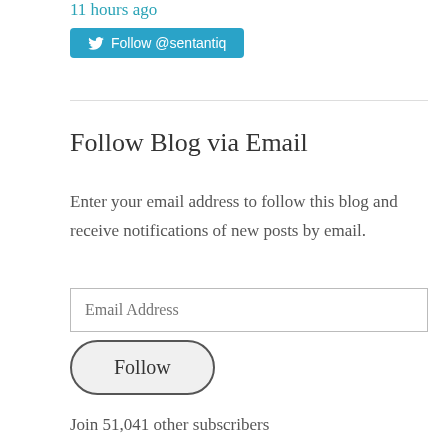11 hours ago
[Figure (other): Twitter Follow button with @sentantiq handle]
Follow Blog via Email
Enter your email address to follow this blog and receive notifications of new posts by email.
Email Address
Follow
Join 51,041 other subscribers